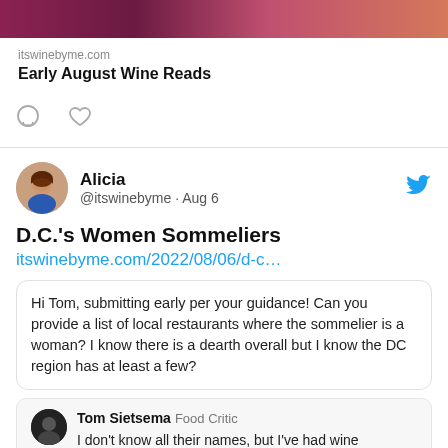[Figure (photo): Dark reddish-brown gradient banner image at top of link preview card]
itswinebyme.com
Early August Wine Reads
[Figure (illustration): Comment speech bubble icon and heart/like icon]
[Figure (photo): Circular avatar photo of Alicia, a woman with brown hair wearing a blue outfit]
Alicia
@itswinebyme · Aug 6
D.C.'s Women Sommeliers
itswinebyme.com/2022/08/06/d-c…
Hi Tom, submitting early per your guidance! Can you provide a list of local restaurants where the sommelier is a woman? I know there is a dearth overall but I know the DC region has at least a few?
[Figure (photo): Small circular dark avatar icon for Tom Sietsema]
Tom Sietsema Food Critic
I don't know all their names, but I've had wine assistance from female sommeliers at restaurants as diverse as La Bise near the White House, the new Rania downtown, the posh Sushi Nakazawa, the plant-based Oyster Oyster in Shaw and Queen's English in Columbia Heights.
itswinebyme.com